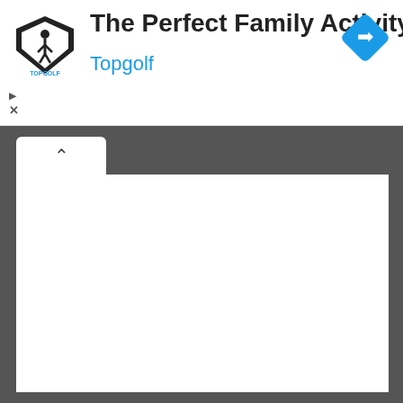[Figure (screenshot): Advertisement banner for Topgolf showing logo, title 'The Perfect Family Activity', subtitle 'Topgolf', a blue diamond navigation icon, and ad control buttons (play and close). Below the ad is a white content card with a tab showing a chevron up arrow, on a dark grey background.]